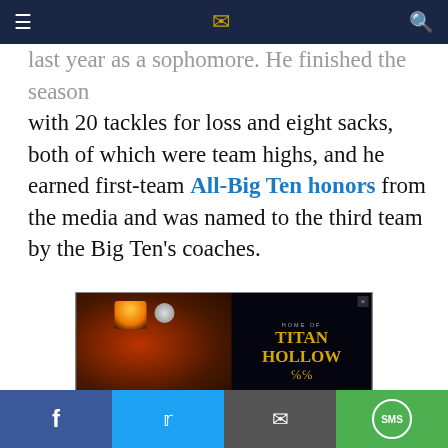≡  [logo]  🔍
last year as a sophomore. He finished the season with 20 tackles for loss and eight sacks, both of which were team highs, and he earned first-team All-Big Ten honors from the media and was named to the third team by the Big Ten's coaches.
[Figure (photo): Advertisement banner for Titan Hollow restaurant - HOME OF TITAN HOLLOW, LUNCH, DINNER, BRUNCH, LIVE MUSIC, EVENT HOSTING, MORE INFO]
Gross-Matos' best game of the year was against
[Figure (photo): Advertisement overlay showing an elderly man sleeping with text: What Causes Excessive Daytime Sleepiness? Some May Wish They… Narcolepsy | Search Ads | Sponsored]
Facebook | Twitter | Email | SMS